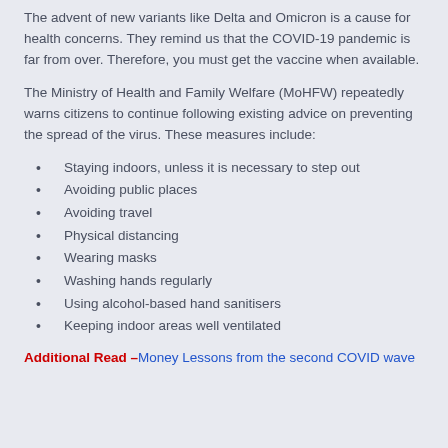The advent of new variants like Delta and Omicron is a cause for health concerns. They remind us that the COVID-19 pandemic is far from over. Therefore, you must get the vaccine when available.
The Ministry of Health and Family Welfare (MoHFW) repeatedly warns citizens to continue following existing advice on preventing the spread of the virus. These measures include:
Staying indoors, unless it is necessary to step out
Avoiding public places
Avoiding travel
Physical distancing
Wearing masks
Washing hands regularly
Using alcohol-based hand sanitisers
Keeping indoor areas well ventilated
Additional Read – Money Lessons from the second COVID wave